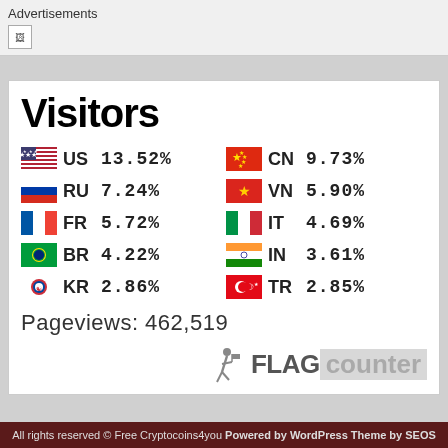Advertisements
[Figure (infographic): Flag Counter widget showing Visitors statistics with country flags and percentages. US 13.52%, CN 9.73%, RU 7.24%, VN 5.90%, FR 5.72%, IT 4.69%, BR 4.22%, IN 3.61%, KR 2.86%, TR 2.85%. Pageviews: 462,519. FLAG counter branding at bottom.]
All rights reserved © Free Cryptocoins4you Powered by WordPress Theme by SEOS